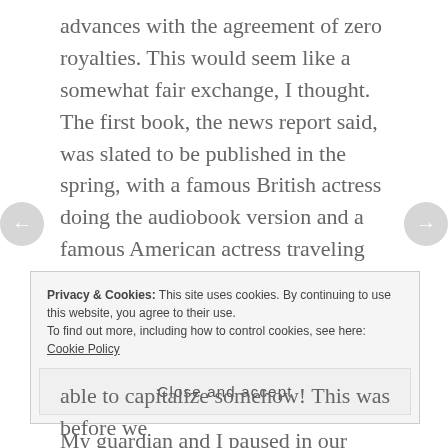advances with the agreement of zero royalties. This would seem like a somewhat fair exchange, I thought. The first book, the news report said, was slated to be published in the spring, with a famous British actress doing the audiobook version and a famous American actress traveling around the country doing readings, with the proceeds of her speaking engagement going to children's charities.
My guardian and I paused in our bickering over changing the channel when the news report naming a woman who was unmistakably the relative we had
Privacy & Cookies: This site uses cookies. By continuing to use this website, you agree to their use.
To find out more, including how to control cookies, see here: Cookie Policy
Close and accept
able to capitalize somehow! This was before we